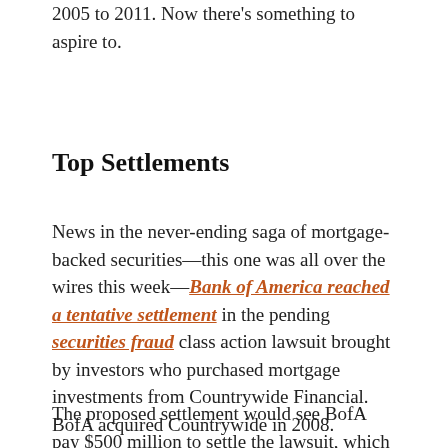2005 to 2011. Now there's something to aspire to.
Top Settlements
News in the never-ending saga of mortgage-backed securities—this one was all over the wires this week—Bank of America reached a tentative settlement in the pending securities fraud class action lawsuit brought by investors who purchased mortgage investments from Countrywide Financial. BofA acquired Countrywide in 2008.
The proposed settlement would see BofA pay $500 million to settle the lawsuit, which would